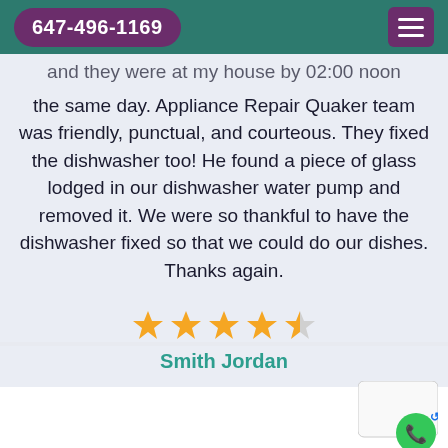647-496-1169
and they were at my house by 02:00 noon the same day. Appliance Repair Quaker team was friendly, punctual, and courteous. They fixed the dishwasher too! He found a piece of glass lodged in our dishwasher water pump and removed it. We were so thankful to have the dishwasher fixed so that we could do our dishes. Thanks again.
[Figure (other): 4.5 star rating shown as 4 full gold stars and 1 half gold star]
Smith Jordan
[Figure (other): reCAPTCHA widget and phone button in bottom right corner]